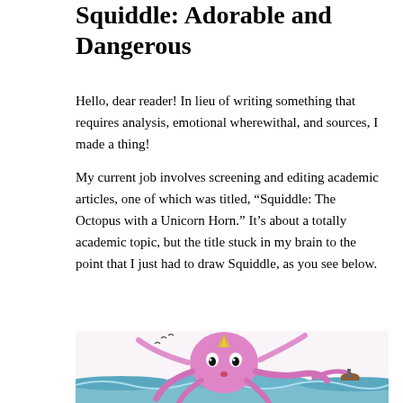Squiddle: Adorable and Dangerous
Hello, dear reader! In lieu of writing something that requires analysis, emotional wherewithal, and sources, I made a thing!
My current job involves screening and editing academic articles, one of which was titled, “Squiddle: The Octopus with a Unicorn Horn.” It’s about a totally academic topic, but the title stuck in my brain to the point that I just had to draw Squiddle, as you see below.
[Figure (illustration): A hand-drawn colored illustration of Squiddle, a pink octopus with a yellow unicorn horn, cute eyes, and tentacles. One tentacle holds a small boat with a figure in it. Birds are visible in the background. The octopus is emerging from stylized blue-green ocean waves.]